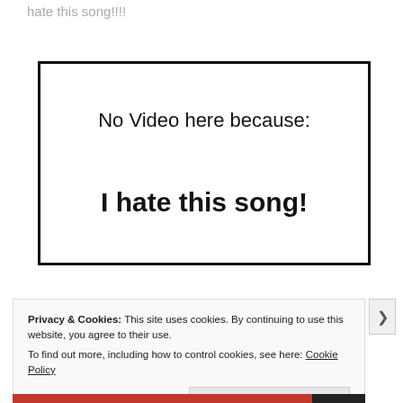hate this song!!!!
[Figure (other): A placeholder box with text reading 'No Video here because: I hate this song!']
Privacy & Cookies: This site uses cookies. By continuing to use this website, you agree to their use.
To find out more, including how to control cookies, see here: Cookie Policy
Close and accept